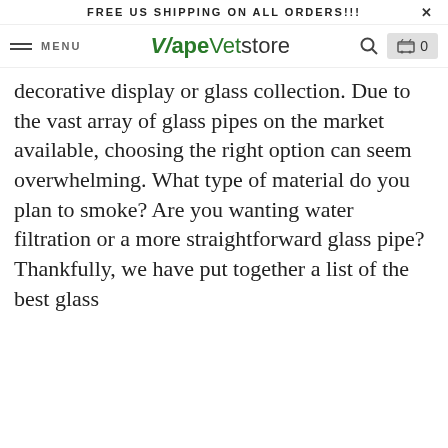FREE US SHIPPING ON ALL ORDERS!!!  X
MENU  VapeVetstore  🔍  🛒 0
decorative display or glass collection. Due to the vast array of glass pipes on the market available, choosing the right option can seem overwhelming. What type of material do you plan to smoke? Are you wanting water filtration or a more straightforward glass pipe? Thankfully, we have put together a list of the best glass